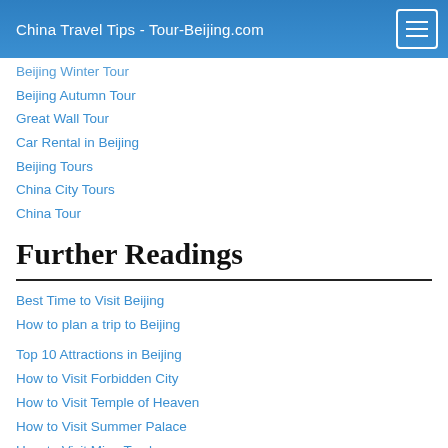China Travel Tips - Tour-Beijing.com
Beijing Winter Tour
Beijing Autumn Tour
Great Wall Tour
Car Rental in Beijing
Beijing Tours
China City Tours
China Tour
Further Readings
Best Time to Visit Beijing
How to plan a trip to Beijing
Top 10 Attractions in Beijing
How to Visit Forbidden City
How to Visit Temple of Heaven
How to Visit Summer Palace
How to Visit Ming Tombs
How to Visit the Great Wall of China